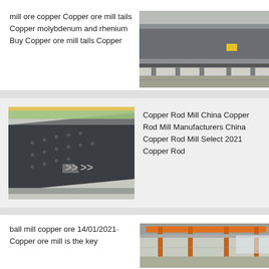mill ore copper Copper ore mill tails Copper molybdenum and rhenium Buy Copper ore mill tails Copper
[Figure (photo): Industrial copper ore mill equipment - large grey metal trough/conveyor structure in a facility]
[Figure (photo): Dark metal vibrating screen or sieve machine on industrial floor]
Copper Rod Mill China Copper Rod Mill Manufacturers China Copper Rod Mill Select 2021 Copper Rod
ball mill copper ore 14/01/2021· Copper ore mill is the key
[Figure (photo): Interior of industrial facility with orange structural beams/cranes overhead]